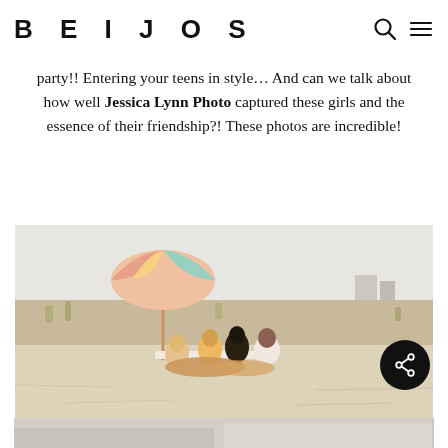BEIJOS
party!! Entering your teens in style… And can we talk about how well Jessica Lynn Photo captured these girls and the essence of their friendship?! These photos are incredible!
[Figure (photo): Group of teenage girls sitting around a low table on a sandy beach with a colorful striped umbrella in the background during golden hour.]
[Figure (photo): Partial view of another beach photo at the bottom of the page.]